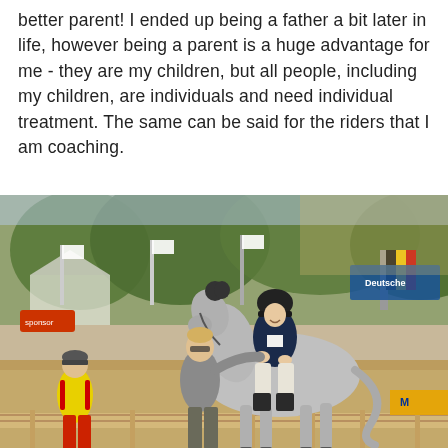better parent! I ended up being a father a bit later in life, however being a parent is a huge advantage for me - they are my children, but all people, including my children, are individuals and need individual treatment. The same can be said for the riders that I am coaching.
[Figure (photo): Outdoor equestrian competition scene. A rider wearing a black helmet and dark navy jacket sits atop a grey horse. A male coach in a grey jacket stands beside the horse talking to the rider. In the lower left, another person in a yellow vest and red pants is visible. Background shows trees, white flags/banners, sponsor boards, and a Belgian flag. The setting appears to be a horse show arena with bamboo fence borders.]